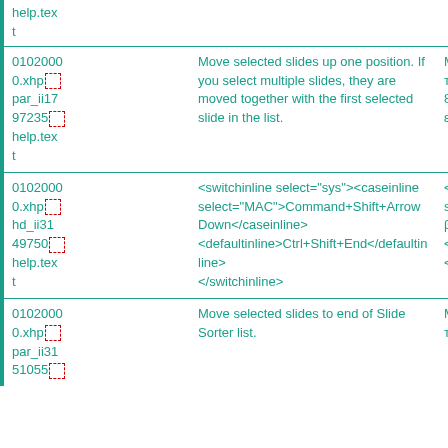| help.tex
t |  |  |
| 0102000
0.xhp
par_ii17
97235
help.tex
t | Move selected slides up one position. If you select multiple slides, they are moved together with the first selected slide in the list. | M
т
8
ε |
| 0102000
0.xhp
hd_ii31
49750
help.tex
t | <switchinline select="sys"><caseinline select="MAC">Command+Shift+Arrow Down</caseinline>
<defaultinline>Ctrl+Shift+End</defaultinline>
</switchinline> | <
s
β
<
< |
| 0102000
0.xhp
par_ii31
51055 | Move selected slides to end of Slide Sorter list. | M
т |